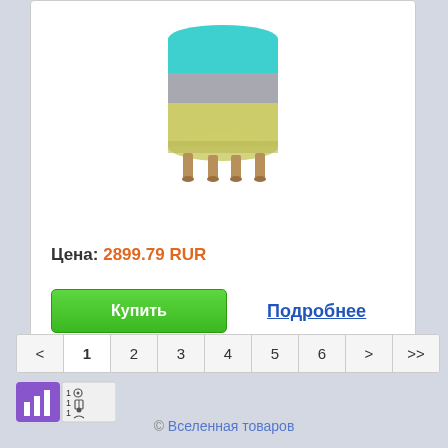[Figure (photo): Cylindrical striped stool/ottoman with blue, grey, and yellow-green fabric bands, on wooden legs, partially visible at top]
Цена: 2899.79 RUR
Купить
Подробнее
< 1 2 3 4 5 6 > >>
[Figure (logo): Purple square logo icon with bar chart symbol and small icons for views/saves/contacts]
© Вселенная товаров